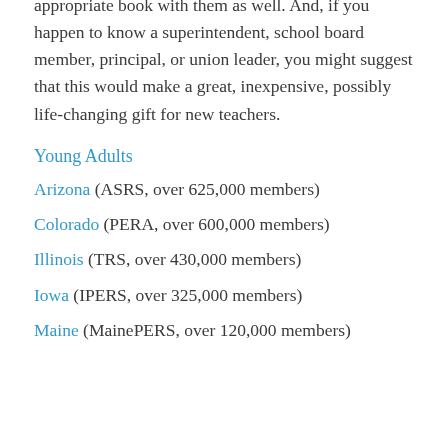appropriate book with them as well. And, if you happen to know a superintendent, school board member, principal, or union leader, you might suggest that this would make a great, inexpensive, possibly life-changing gift for new teachers.
Young Adults
Arizona (ASRS, over 625,000 members)
Colorado (PERA, over 600,000 members)
Illinois (TRS, over 430,000 members)
Iowa (IPERS, over 325,000 members)
Maine (MainePERS, over 120,000 members)